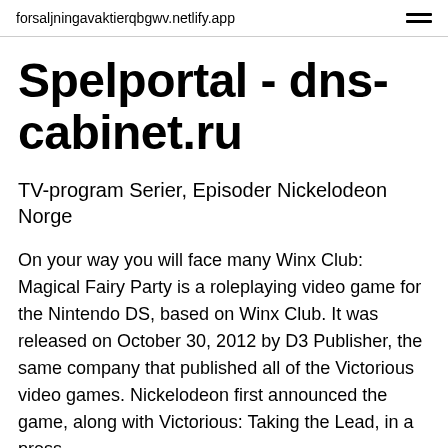forsaljningavaktierqbgwv.netlify.app
Spelportal - dns-cabinet.ru
TV-program Serier, Episoder Nickelodeon Norge
On your way you will face many Winx Club: Magical Fairy Party is a roleplaying video game for the Nintendo DS, based on Winx Club. It was released on October 30, 2012 by D3 Publisher, the same company that published all of the Victorious video games. Nickelodeon first announced the game, along with Victorious: Taking the Lead, in a press